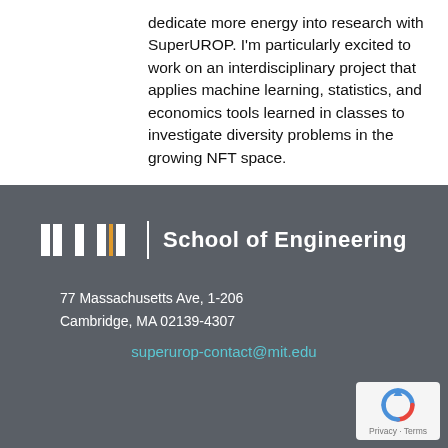dedicate more energy into research with SuperUROP. I'm particularly excited to work on an interdisciplinary project that applies machine learning, statistics, and economics tools learned in classes to investigate diversity problems in the growing NFT space.
[Figure (logo): MIT School of Engineering logo with MIT bars and text on dark gray background]
77 Massachusetts Ave, 1-206
Cambridge, MA 02139-4307
superurop-contact@mit.edu